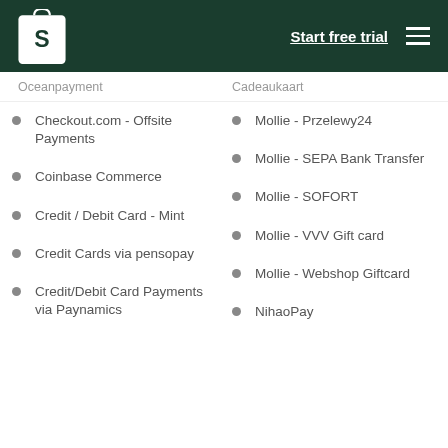Shopify - Start free trial
Oceanpayment
Cadeaukaart
Checkout.com - Offsite Payments
Mollie - Przelewy24
Coinbase Commerce
Mollie - SEPA Bank Transfer
Credit / Debit Card - Mint
Mollie - SOFORT
Credit Cards via pensopay
Mollie - VVV Gift card
Credit/Debit Card Payments via Paynamics
Mollie - Webshop Giftcard
NihaoPay